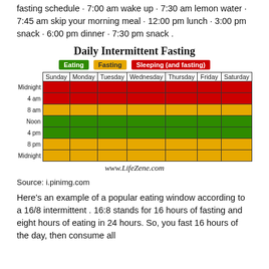fasting schedule · 7:00 am wake up · 7:30 am lemon water · 7:45 am skip your morning meal · 12:00 pm lunch · 3:00 pm snack · 6:00 pm dinner · 7:30 pm snack .
[Figure (table-as-image): Daily Intermittent Fasting chart showing a weekly grid with color-coded time blocks: red for Sleeping (and fasting), yellow for Fasting, green for Eating. Days of week are columns (Sunday-Saturday), time rows are Midnight, 4am, 8am, Noon, 4pm, 8pm, Midnight. Midnight to ~8am is red, 8am to Noon is yellow, Noon to 8pm is green, 8pm to Midnight is yellow.]
Source: i.pinimg.com
Here's an example of a popular eating window according to a 16/8 intermittent . 16:8 stands for 16 hours of fasting and eight hours of eating in 24 hours. So, you fast 16 hours of the day, then consume all